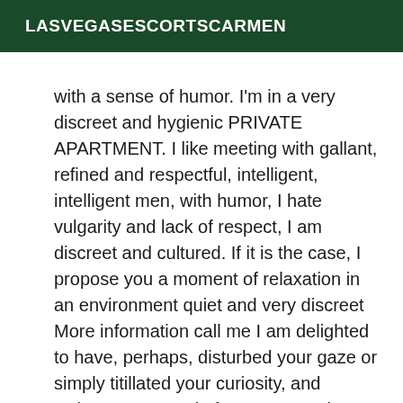LASVEGASESCORTSCARMEN
with a sense of humor. I'm in a very discreet and hygienic PRIVATE APARTMENT. I like meeting with gallant, refined and respectful, intelligent, intelligent men, with humor, I hate vulgarity and lack of respect, I am discreet and cultured. If it is the case, I propose you a moment of relaxation in an environment quiet and very discreet More information call me I am delighted to have, perhaps, disturbed your gaze or simply titillated your curiosity, and welcome to my ad! If you are passing through this city, looking for moments of relaxation; so I propose you my Service(s) Massage Accompaniment Strip-tease Domination Casting adult La Puente with a daring person with an assumed maturity, feminine and enterprising feline. If you are waiting for a personalized and attentive meeting... If you like seduction, sharing and daring... then I invite you to discover my ad... discover me, very slowly ... letting you glimpse, some features of my personality... A deep exchange, an